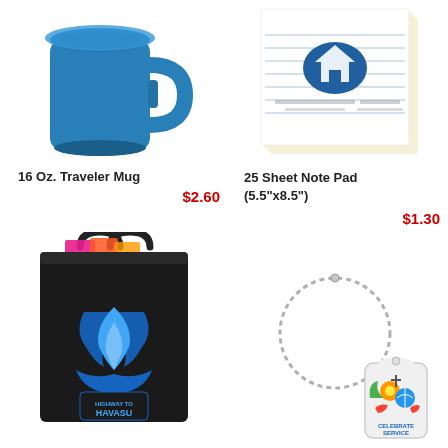[Figure (photo): Blue 16 oz traveler mug with handle]
16 Oz. Traveler Mug
$2.60
[Figure (photo): 25 Sheet Note Pad (5.5"x8.5") with ruled lines and logo]
25 Sheet Note Pad (5.5"x8.5")
$1.30
[Figure (photo): Black tote bag with blue flame Havasu logo, filled with magazines]
[Figure (photo): Dog tag necklace with ball chain and Celebrate Service colorful design]